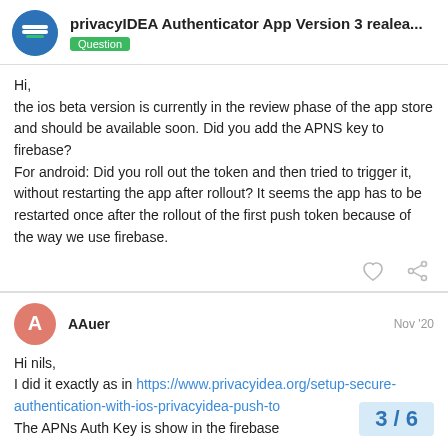privacyIDEA Authenticator App Version 3 realea... Question
Hi,
the ios beta version is currently in the review phase of the app store and should be available soon. Did you add the APNS key to firebase?
For android: Did you roll out the token and then tried to trigger it, without restarting the app after rollout? It seems the app has to be restarted once after the rollout of the first push token because of the way we use firebase.
AAuer  Nov '20
Hi nils,
I did it exactly as in https://www.privacyidea.org/setup-secure-authentication-with-ios-privacyidea-push-to
The APNs Auth Key is show in the firebase
3 / 6